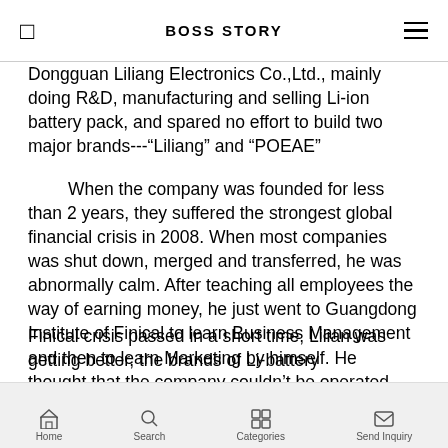BOSS STORY
Dongguan Liliang Electronics Co.,Ltd., mainly doing R&D, manufacturing and selling Li-ion battery pack, and spared no effort to build two major brands---"Liliang" and "POEAE"
When the company was founded for less than 2 years, they suffered the strongest global financial crisis in 2008. When most companies was shut down, merged and transferred, he was abnormally calm. After teaching all employees the way of earning money, he just went to Guangdong Institute of Finical to learn Business Management and then to learn Marketing by himself. He thought that the company couldn't be operated well if they just rely on technology. The most excellent technology needs management, and the most perfect products still needs marketing.
Finical crisis passed in a short time, Lilian was getting better, the brands of Li-battery
Home | Search | Categories | Send Inquiry